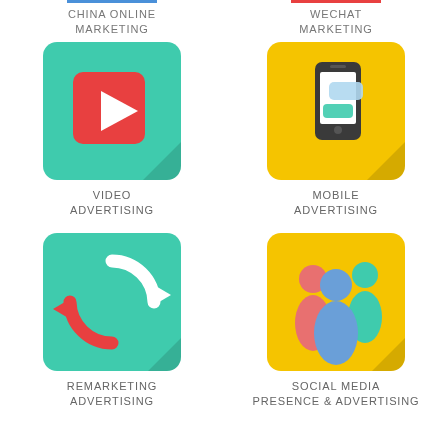[Figure (infographic): China Online Marketing icon - green rounded square with blue underline bar above label]
[Figure (infographic): WeChat Marketing icon - yellow rounded square with red underline bar above label]
[Figure (infographic): Video Advertising icon - green rounded square with play button]
[Figure (infographic): Mobile Advertising icon - yellow rounded square with smartphone and chat bubbles]
[Figure (infographic): Remarketing Advertising icon - green rounded square with refresh/cycle arrows]
[Figure (infographic): Social Media Presence & Advertising icon - yellow rounded square with three people figures]